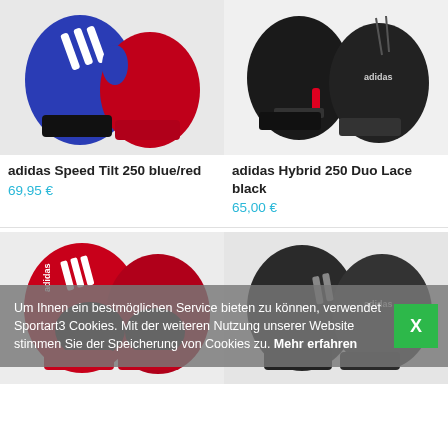[Figure (photo): adidas Speed Tilt 250 boxing gloves in blue and red color, pair shown]
[Figure (photo): adidas Hybrid 250 Duo Lace boxing gloves in black color, pair shown]
adidas Speed Tilt 250 blue/red
69,95 €
adidas Hybrid 250 Duo Lace black
65,00 €
[Figure (photo): adidas boxing gloves red/black, pair shown]
[Figure (photo): adidas boxing gloves dark/black, pair shown]
Um Ihnen ein bestmöglichen Service bieten zu können, verwendet Sportart3 Cookies. Mit der weiteren Nutzung unserer Website stimmen Sie der Speicherung von Cookies zu. Mehr erfahren